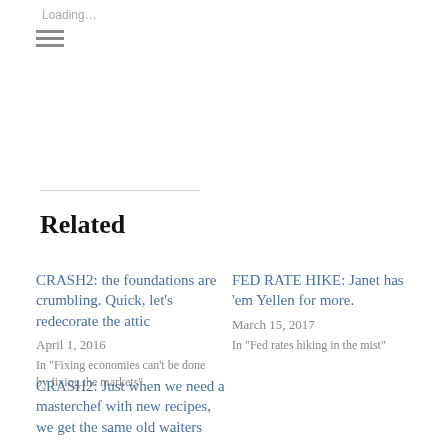Loading…
≡ (hamburger menu icon)
Related
CRASH2: the foundations are crumbling. Quick, let's redecorate the attic
April 1, 2016
In "Fixing economies can't be done by fixing the markets"
FED RATE HIKE: Janet has 'em Yellen for more.
March 15, 2017
In "Fed rates hiking in the mist"
CRASH2: Just when we need a masterchef with new recipes, we get the same old waiters